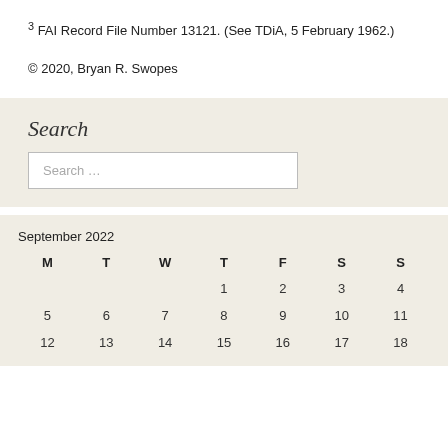3 FAI Record File Number 13121. (See TDiA, 5 February 1962.)
© 2020, Bryan R. Swopes
Search
Search …
| M | T | W | T | F | S | S |
| --- | --- | --- | --- | --- | --- | --- |
|  |  |  | 1 | 2 | 3 | 4 |
| 5 | 6 | 7 | 8 | 9 | 10 | 11 |
| 12 | 13 | 14 | 15 | 16 | 17 | 18 |